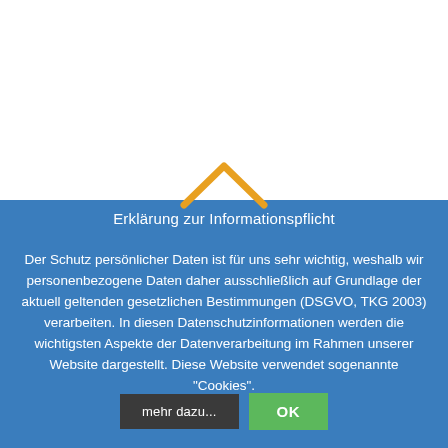[Figure (screenshot): White background area representing top portion of a website screenshot]
Erklärung zur Informationspflicht
Der Schutz persönlicher Daten ist für uns sehr wichtig, weshalb wir personenbezogene Daten daher ausschließlich auf Grundlage der aktuell geltenden gesetzlichen Bestimmungen (DSGVO, TKG 2003) verarbeiten. In diesen Datenschutzinformationen werden die wichtigsten Aspekte der Datenverarbeitung im Rahmen unserer Website dargestellt. Diese Website verwendet sogenannte "Cookies".
mehr dazu...   OK